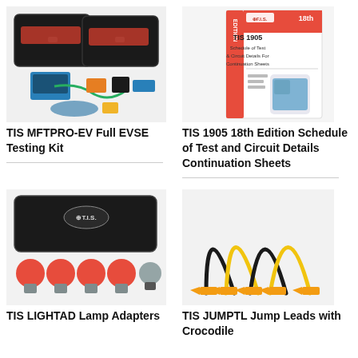[Figure (photo): TIS MFTPRO-EV Full EVSE Testing Kit product photo showing cases and testing equipment]
TIS MFTPRO-EV Full EVSE Testing Kit
[Figure (photo): TIS 1905 18th Edition Schedule of Test and Circuit Details Continuation Sheets book/document product photo]
TIS 1905 18th Edition Schedule of Test and Circuit Details Continuation Sheets
[Figure (photo): TIS LIGHTAD Lamp Adapters product photo showing black case with orange lamp adapters]
TIS LIGHTAD Lamp Adapters
[Figure (photo): TIS JUMPTL Jump Leads with Crocodile clips product photo showing yellow and black jump leads]
TIS JUMPTL Jump Leads with Crocodile